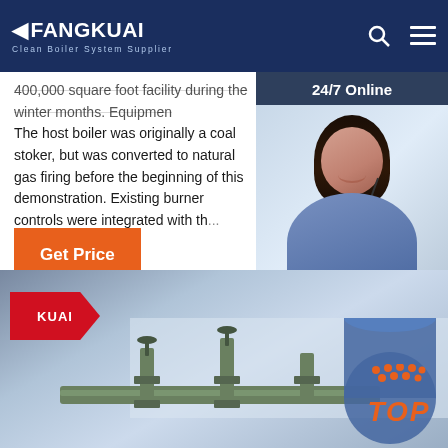FANGKUAI Clean Boiler System Supplier
400,000 square foot facility during the winter months. Equipment. The host boiler was originally a coal stoker, but was converted to natural gas firing before the beginning of this demonstration. Existing burner controls were integrated with th... testing.
Get Price
[Figure (photo): Customer service representative wearing headset with '24/7 Online' header, 'Click here for free chat!' text, and orange QUOTATION button]
[Figure (photo): Industrial boiler equipment/piping system with FANGKUAI branding and TOP badge in lower right]